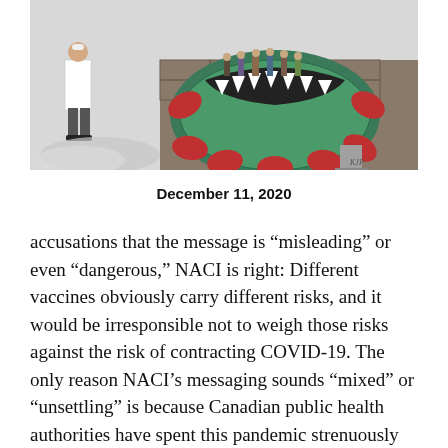[Figure (illustration): An editorial illustration showing a large green coronavirus particle with teeth (like a monster's mouth), swallowing a group of people standing inside it. A doctor/medical figure in a white coat stands to the left. Red spike proteins and tombstones are visible in the background. Initials 'KJP' appear in the lower right.]
December 11, 2020
accusations that the message is “misleading” or even “dangerous,” NACI is right: Different vaccines obviously carry different risks, and it would be irresponsible not to weigh those risks against the risk of contracting COVID-19. The only reason NACI’s messaging sounds “mixed” or “unsettling” is because Canadian public health authorities have spent this pandemic strenuously avoiding nuance or even the basic notion that the public can be trusted with uncomfortable information.
The controversy began over NACI’s latest vaccine